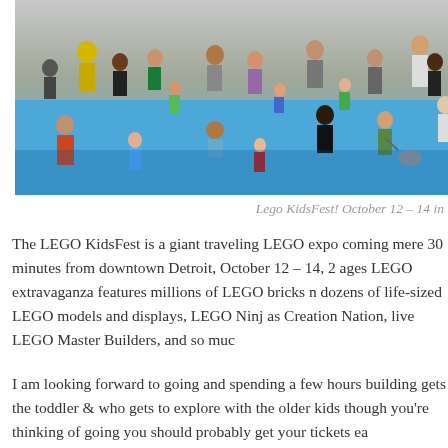[Figure (photo): Overhead/elevated view of a large crowd of people including children and adults on a bright blue floor at what appears to be a LEGO expo or fair. A yellow C-3PO Star Wars character costume is visible among the crowd.]
Lego KidsFest! October 12 – 14 in
The LEGO KidsFest is a giant traveling LEGO expo coming mere 30 minutes from downtown Detroit, October 12 – 14, 2 ages LEGO extravaganza features millions of LEGO bricks n dozens of life-sized LEGO models and displays, LEGO Ninj as Creation Nation, live LEGO Master Builders, and so muc
I am looking forward to going and spending a few hours building gets the toddler & who gets to explore with the older kids though you're thinking of going you should probably get your tickets ea